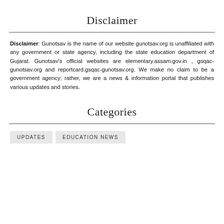Disclaimer
Disclaimer: Gunotsav is the name of our website gunotsav.org is unaffiliated with any government or state agency, including the state education department of Gujarat. Gunotsav's official websites are elementary.assam.gov.in , gsqac-gunotsav.org and reportcard.gsqac-gunotsav.org. We make no claim to be a government agency; rather, we are a news & information portal that publishes various updates and stories.
Categories
UPDATES
EDUCATION NEWS